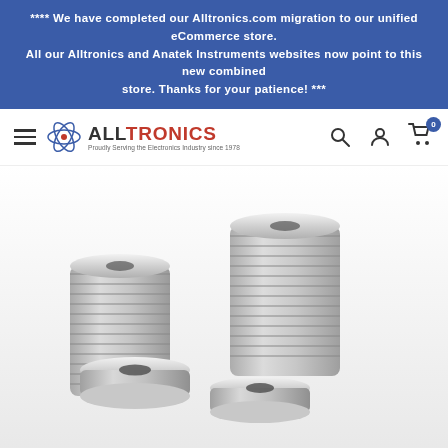**** We have completed our Alltronics.com migration to our unified eCommerce store. All our Alltronics and Anatek Instruments websites now point to this new combined store. Thanks for your patience! ***
[Figure (logo): Alltronics logo with atom icon and tagline 'Proudly Serving the Electronics Industry since 1978']
[Figure (photo): Stack of silver neodymium ring/countersunk magnets piled in groups, showing circular disc magnets with center holes, silver metallic finish, on white background]